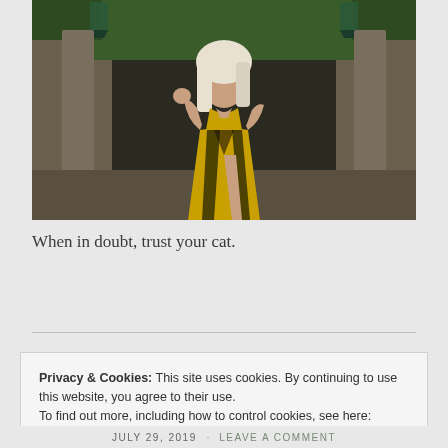[Figure (photo): A digital avatar/character with blonde white hair wearing a yellow and black patterned dress, standing in a stone outdoor environment with green foliage and decorative lanterns in the background.]
When in doubt, trust your cat.
Privacy & Cookies: This site uses cookies. By continuing to use this website, you agree to their use.
To find out more, including how to control cookies, see here: Cookie Policy
Close and accept
JULY 29, 2019   LEAVE A COMMENT